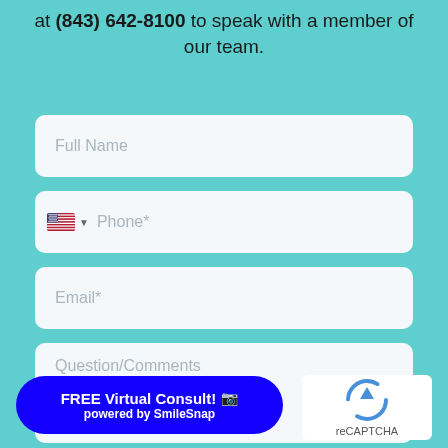at (843) 642-8100 to speak with a member of our team.
[Figure (screenshot): Contact form with fields: Full Name, Phone (with US flag selector), Email*, Question/Comments textarea, and a resize handle]
[Figure (other): FREE Virtual Consult button with camera icon, powered by SmileSnap, in blue rounded rectangle]
[Figure (other): reCAPTCHA widget in white rounded box showing the reCAPTCHA logo and text]